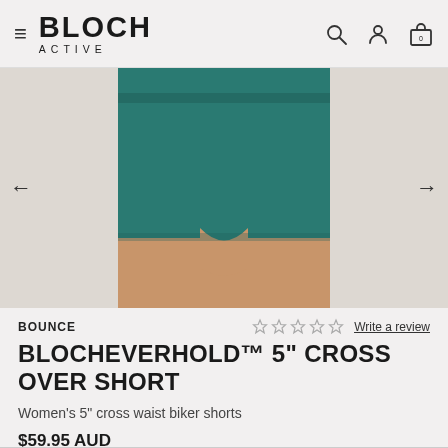BLOCH ACTIVE
[Figure (photo): Woman wearing teal/dark-green biker shorts, cropped view showing torso and thighs, with left and right navigation arrows on either side]
BOUNCE
Write a review
BLOCHEVERHOLD™ 5" CROSS OVER SHORT
Women's 5" cross waist biker shorts
$59.95 AUD